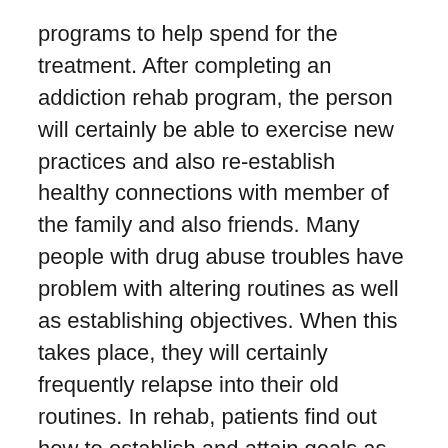programs to help spend for the treatment. After completing an addiction rehab program, the person will certainly be able to exercise new practices and also re-establish healthy connections with member of the family and also friends. Many people with drug abuse troubles have problem with altering routines as well as establishing objectives. When this takes place, they will certainly frequently relapse into their old routines. In rehab, patients find out how to establish and attain goals as well as stay clear of scenarios that activate their relapse. Typically, the procedure of recovering from dependency is not a positive one. In the past, the industry of dependency treatment has been dealt with independently from mainstream medication. The federal government has little function in setting standards for property therapy of addiction. Some rehabs are “approved” by exclusive firms that evaluate operations for a fee. The outcomes of these evaluations are blended. For instance, many programs are more